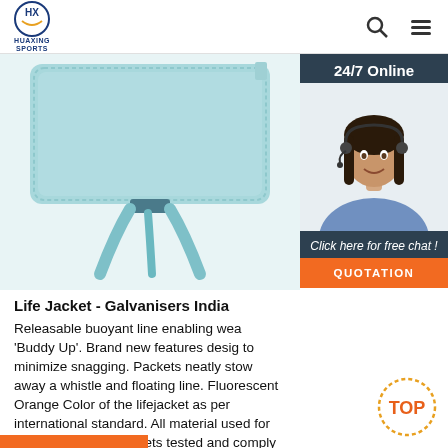HUAXING SPORTS
[Figure (photo): Life jacket product photo showing a light blue buoyant foam panel with blue nylon straps, displayed against a white background]
[Figure (photo): 24/7 Online chat overlay showing a woman with a headset smiling, with dark blue background. Text: '24/7 Online', 'Click here for free chat!', and 'QUOTATION' button in orange]
Life Jacket - Galvanisers India Releasable buoyant line enabling wea 'Buddy Up'. Brand new features designed to minimize snagging. Packets neatly stow away a whistle and floating line. Fluorescent Orange Color of the lifejacket as per international standard. All material used for manufacturing lifejackets tested and comply with ISO 12402-7; 2006 (E)